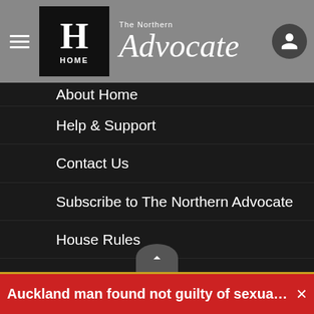[Figure (logo): The Northern Advocate newspaper header with hamburger menu, Herald H home logo, Advocate masthead, and user profile icon]
Help & Support
Contact Us
Subscribe to The Northern Advocate
House Rules
Manage Your Print Subscription
The Northern Advocate E-Edition
Advertise with NZME
Book Your Ad
Privacy Policy
Terms of Use
Competition Terms & Conditions
Subscriptions Terms & Conditions
Auckland man found not guilty of sexually violating Kiw